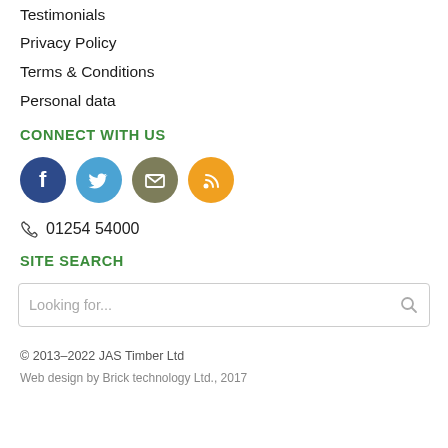Testimonials
Privacy Policy
Terms & Conditions
Personal data
CONNECT WITH US
[Figure (infographic): Four social media/contact icons: Facebook (dark blue circle with white F), Twitter (blue circle with white bird), Email (olive circle with white envelope), RSS (orange circle with white wifi/rss symbol)]
☎ 01254 54000
SITE SEARCH
Looking for...
© 2013–2022 JAS Timber Ltd
Web design by Brick technology Ltd., 2017